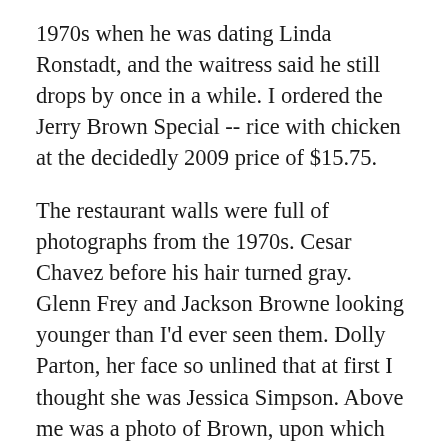1970s when he was dating Linda Ronstadt, and the waitress said he still drops by once in a while. I ordered the Jerry Brown Special -- rice with chicken at the decidedly 2009 price of $15.75.
The restaurant walls were full of photographs from the 1970s. Cesar Chavez before his hair turned gray. Glenn Frey and Jackson Browne looking younger than I'd ever seen them. Dolly Parton, her face so unlined that at first I thought she was Jessica Simpson. Above me was a photo of Brown, upon which the then-governor had written: "Serious business, isn't it?"
To Brown, the question was rhetorical. His governorship, beginning in 1975, was built around the idea that politics was a dubious enterprise. Brown spoke in aphorisms that were part